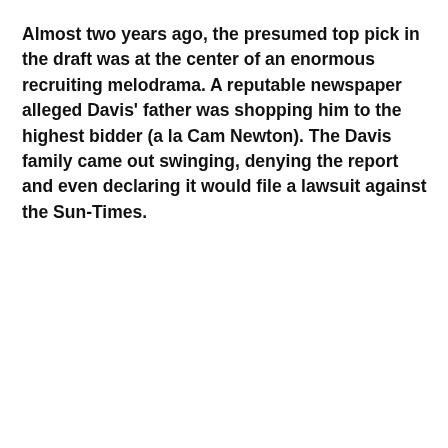Almost two years ago, the presumed top pick in the draft was at the center of an enormous recruiting melodrama. A reputable newspaper alleged Davis' father was shopping him to the highest bidder (a la Cam Newton). The Davis family came out swinging, denying the report and even declaring it would file a lawsuit against the Sun-Times.